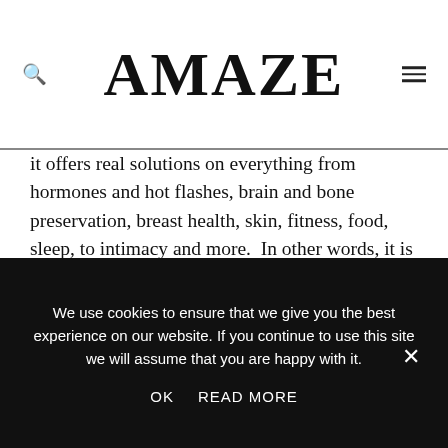AMAZE
it offers real solutions on everything from hormones and hot flashes, brain and bone preservation, breast health, skin, fitness, food, sleep, to intimacy and more.  In other words, it is packed with thirty years of proven success rather than a swing in trends that has become 'the cure du jour!'
The superior credentials of both doctors authenticate how they have devoted their lives to helping menopausal women. Dr. Lovera is a board certified obstetrician and gynecologist, a Fellow of the American College of Obstetrics & Gynecology,
We use cookies to ensure that we give you the best experience on our website. If you continue to use this site we will assume that you are happy with it.
OK   READ MORE